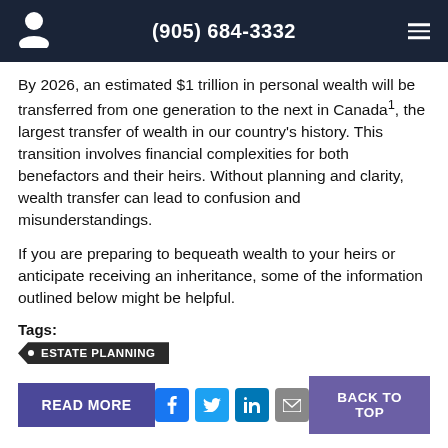(905) 684-3332
By 2026, an estimated $1 trillion in personal wealth will be transferred from one generation to the next in Canada¹, the largest transfer of wealth in our country's history. This transition involves financial complexities for both benefactors and their heirs. Without planning and clarity, wealth transfer can lead to confusion and misunderstandings.
If you are preparing to bequeath wealth to your heirs or anticipate receiving an inheritance, some of the information outlined below might be helpful.
Tags:
ESTATE PLANNING